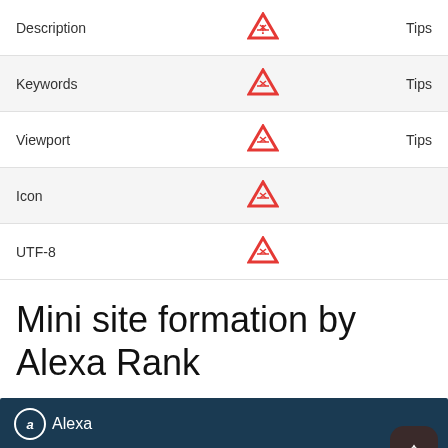|  |  |  |
| --- | --- | --- |
| Description | ⚠ | Tips |
| Keywords | ⚠ | Tips |
| Viewport | ⚠ | Tips |
| Icon | ⚠ |  |
| UTF-8 | ⚠ |  |
Mini site formation by Alexa Rank
[Figure (screenshot): Alexa dark blue header bar with Alexa logo and an up-arrow button, followed by a second partially visible dark blue bar]